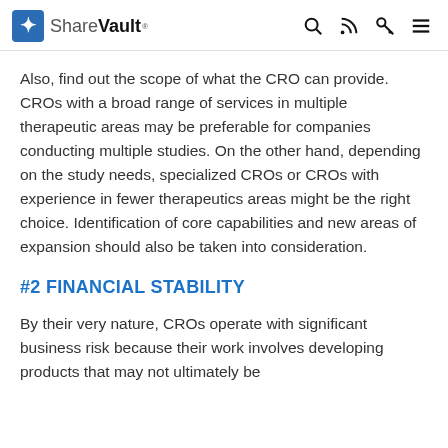ShareVault
Also, find out the scope of what the CRO can provide. CROs with a broad range of services in multiple therapeutic areas may be preferable for companies conducting multiple studies. On the other hand, depending on the study needs, specialized CROs or CROs with experience in fewer therapeutics areas might be the right choice. Identification of core capabilities and new areas of expansion should also be taken into consideration.
#2 FINANCIAL STABILITY
By their very nature, CROs operate with significant business risk because their work involves developing products that may not ultimately be